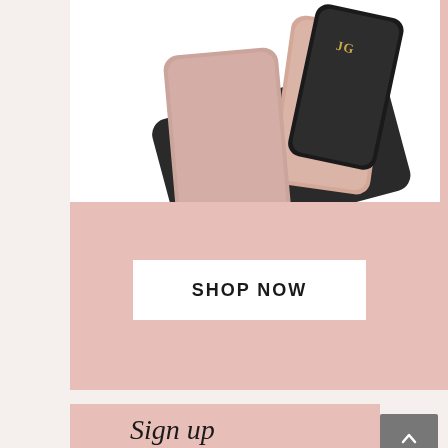[Figure (photo): Product photo showing personalized phone cases: black cases with gold 'JG' monogram initials and pink/nude cases with gold 'SG' monogram initials, arranged overlapping on a white background]
SHOP NOW
[Figure (photo): Pink banner partially visible at bottom with cursive 'Sign up' text]